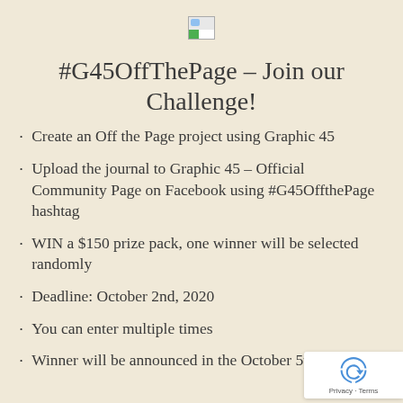[Figure (logo): Small broken/placeholder image icon at top center]
#G45OffThePage – Join our Challenge!
Create an Off the Page project using Graphic 45
Upload the journal to Graphic 45 – Official Community Page on Facebook using #G45OffthePage hashtag
WIN a $150 prize pack, one winner will be selected randomly
Deadline: October 2nd, 2020
You can enter multiple times
Winner will be announced in the October 5th.